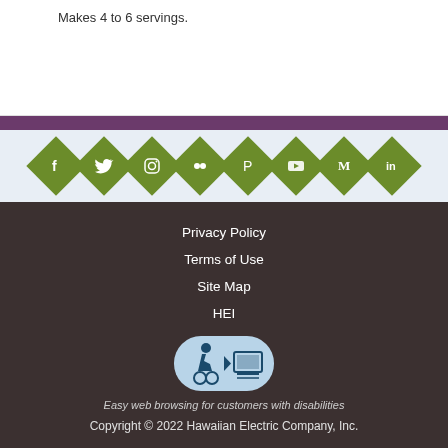Makes 4 to 6 servings.
[Figure (infographic): Social media icons (Facebook, Twitter, Instagram, Flickr, Pinterest, YouTube, Medium, LinkedIn) displayed as white icons on green diamond shapes on a light blue background]
Privacy Policy
Terms of Use
Site Map
HEI
[Figure (logo): Accessibility and easy web browsing icon: wheelchair accessibility symbol linked to a computer monitor symbol on a light blue background]
Easy web browsing for customers with disabilities
Copyright © 2022 Hawaiian Electric Company, Inc.